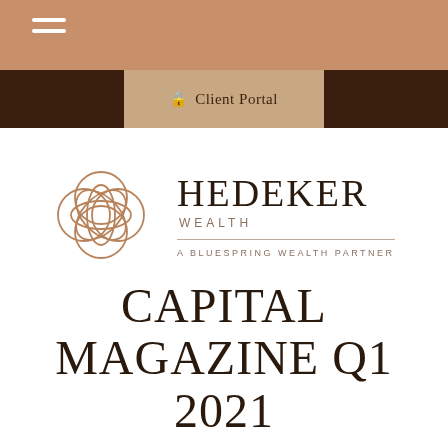Navigation bar with hamburger menu
Client Portal
[Figure (logo): Hedeker Wealth logo — interlocking circles geometric emblem in copper/brown, with company name HEDEKER WEALTH and tagline A BLUESPRING WEALTH PARTNER]
CAPITAL MAGAZINE Q1 2021